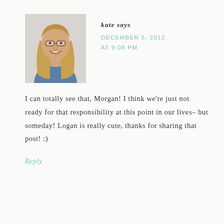[Figure (photo): Headshot of a smiling young woman with long blonde hair wearing a blue denim shirt, against a light background.]
kate says
DECEMBER 5, 2012 AT 9:08 PM
I can totally see that, Morgan! I think we're just not ready for that responsibility at this point in our lives– but someday! Logan is really cute, thanks for sharing that post! :)
Reply